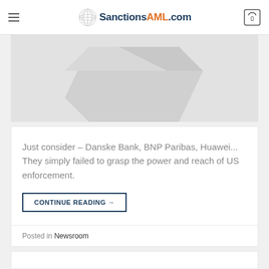SanctionsAML.com
[Figure (photo): Partial view of a decorative object or book on a light grey background]
Just consider – Danske Bank, BNP Paribas, Huawei... They simply failed to grasp the power and reach of US enforcement.
CONTINUE READING →
Posted in Newsroom